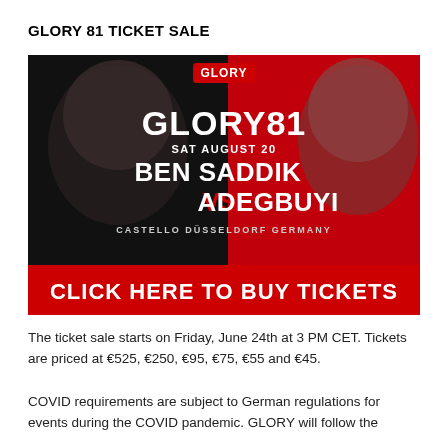GLORY 81 TICKET SALE
[Figure (illustration): GLORY 81 promotional banner showing two fighters (Ben Saddik vs Adegbuyi) on a dark red/black background. Text reads: GLORY, GLORY81, SAT AUGUST 20, BEN SADDIK VS ADEGBUYI, CASTELLO DÜSSELDORF GERMANY. Red banner at bottom: CLICK HERE TO BUY TICKETS]
The ticket sale starts on Friday, June 24th at 3 PM CET. Tickets are priced at €525, €250, €95, €75, €55 and €45.
COVID requirements are subject to German regulations for events during the COVID pandemic. GLORY will follow the